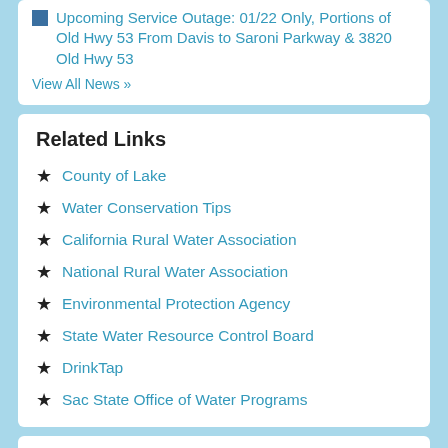Upcoming Service Outage: 01/22 Only, Portions of Old Hwy 53 From Davis to Saroni Parkway & 3820 Old Hwy 53
View All News »
Related Links
County of Lake
Water Conservation Tips
California Rural Water Association
National Rural Water Association
Environmental Protection Agency
State Water Resource Control Board
DrinkTap
Sac State Office of Water Programs
powered by Google Translate
English
Translate